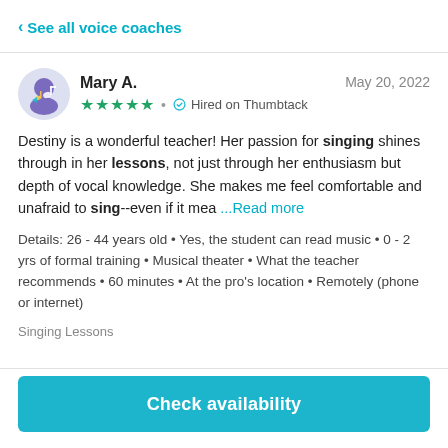< See all voice coaches
Mary A.
★★★★★ • Hired on Thumbtack
May 20, 2022
Destiny is a wonderful teacher! Her passion for singing shines through in her lessons, not just through her enthusiasm but depth of vocal knowledge. She makes me feel comfortable and unafraid to sing--even if it mea ...Read more
Details: 26 - 44 years old • Yes, the student can read music • 0 - 2 yrs of formal training • Musical theater • What the teacher recommends • 60 minutes • At the pro's location • Remotely (phone or internet)
Singing Lessons
Check availability